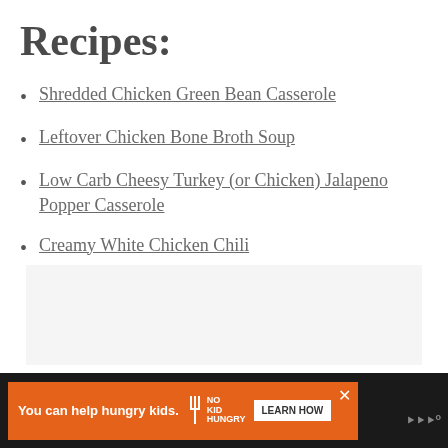Recipes:
Shredded Chicken Green Bean Casserole
Leftover Chicken Bone Broth Soup
Low Carb Cheesy Turkey (or Chicken) Jalapeno Popper Casserole
Creamy White Chicken Chili
[Figure (other): Gray placeholder advertisement box]
You can help hungry kids. NO KID HUNGRY LEARN HOW